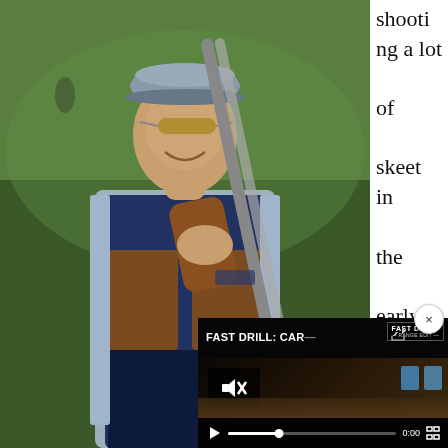[Figure (photo): Man wearing a blue shooting vest and cap, holding a shotgun, smiling, standing on a green grass field. A skeet shooting range is visible in the background.]
shooting a lot of skeet in the early 1980s with Ed Scherer and Deb
[Figure (screenshot): Embedded video player overlay showing 'FAST DRILL: CAR...' with a close button, mute icon, play button, progress bar showing 0:00, and blue target silhouettes visible at the right side.]